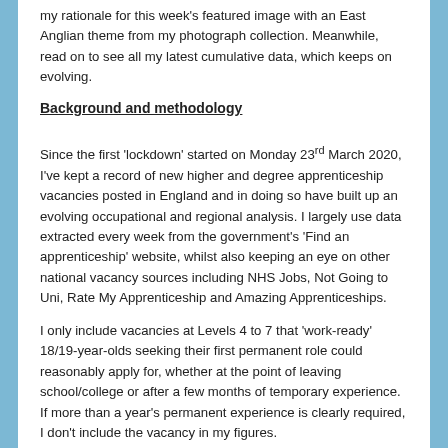my rationale for this week's featured image with an East Anglian theme from my photograph collection. Meanwhile, read on to see all my latest cumulative data, which keeps on evolving.
Background and methodology
Since the first 'lockdown' started on Monday 23rd March 2020, I've kept a record of new higher and degree apprenticeship vacancies posted in England and in doing so have built up an evolving occupational and regional analysis. I largely use data extracted every week from the government's 'Find an apprenticeship' website, whilst also keeping an eye on other national vacancy sources including NHS Jobs, Not Going to Uni, Rate My Apprenticeship and Amazing Apprenticeships.
I only include vacancies at Levels 4 to 7 that 'work-ready' 18/19-year-olds seeking their first permanent role could reasonably apply for, whether at the point of leaving school/college or after a few months of temporary experience. If more than a year's permanent experience is clearly required, I don't include the vacancy in my figures.